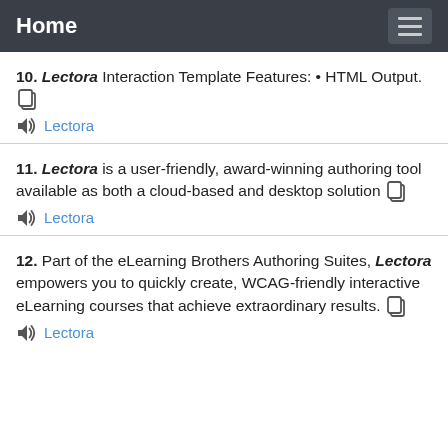Home
10. Lectora Interaction Template Features: • HTML Output.
11. Lectora is a user-friendly, award-winning authoring tool available as both a cloud-based and desktop solution
12. Part of the eLearning Brothers Authoring Suites, Lectora empowers you to quickly create, WCAG-friendly interactive eLearning courses that achieve extraordinary results.